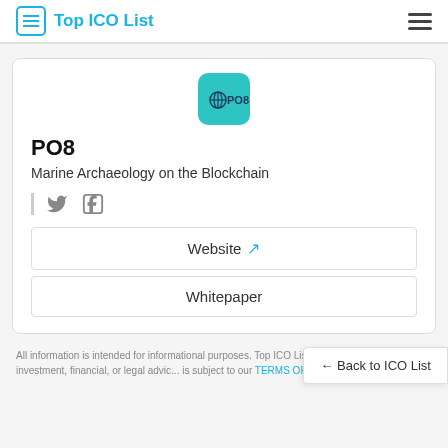Top ICO List
[Figure (logo): PO8 project logo: teal/cyan rounded square with globe icon and PO8 text in dark navy]
PO8
Marine Archaeology on the Blockchain
[Figure (other): Social media icons: Twitter bird icon and Facebook F icon]
Website ↗
Whitepaper
All information is intended for informational purposes. Top ICO List does not provide investment, financial, or legal advic... is subject to our TERMS OF SERVICE. T...
← Back to ICO List